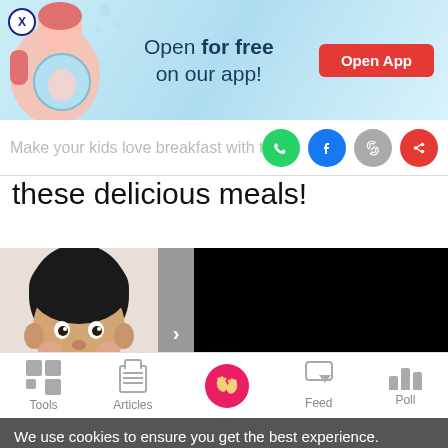[Figure (screenshot): App banner advertisement with light blue background, pregnant woman illustration on left, text 'Open for free on our app!' in center, red 'Open App' button on right, X close button top-left]
Make your kids love breakfast with th
[Figure (infographic): Social sharing icons: WhatsApp (green), Facebook (blue), Link (gray), Share (red)]
these delicious meals!
[Figure (photo): Asian boy child smiling, head-and-shoulders photo on left. Gray arrow button in center. Black panel on right (video/image placeholder).]
[Figure (screenshot): Bottom navigation bar with icons: Tools (grid), Articles (clipboard), Home (pink circle with footprints), Feed (chat bubbles), Poll (bar chart)]
We use cookies to ensure you get the best experience.
Learn More   Ok, Got it